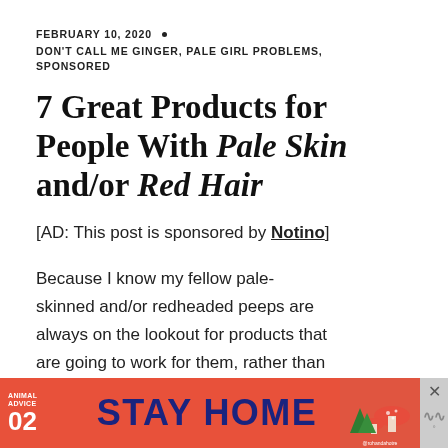FEBRUARY 10, 2020 •
DON'T CALL ME GINGER, PALE GIRL PROBLEMS,
SPONSORED
7 Great Products for People With Pale Skin and/or Red Hair
[AD: This post is sponsored by Notino]
Because I know my fellow pale-skinned and/or redheaded peeps are always on the lookout for products that are going to work for them, rather than against them, here's a quick roundup
[Figure (infographic): Red advertisement banner reading 'STAY HOME' with Animal Advice 02 label on left, illustrated mushroom/nature scene on right, and close button on far right]